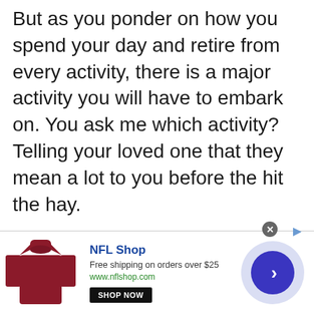But as you ponder on how you spend your day and retire from every activity, there is a major activity you will have to embark on. You ask me which activity? Telling your loved one that they mean a lot to you before the hit the hay.
[Figure (other): Advertisement banner for NFL Shop. Shows a dark red/maroon NFL jersey image on the left, text 'NFL Shop', 'Free shipping on orders over $25', 'www.nflshop.com', a 'SHOP NOW' button, and a circular chevron/arrow button on the right. Close button (x) at top right of banner.]